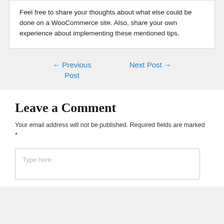Feel free to share your thoughts about what else could be done on a WooCommerce site. Also, share your own experience about implementing these mentioned tips.
← Previous Post
Next Post →
Leave a Comment
Your email address will not be published. Required fields are marked *
Type here..